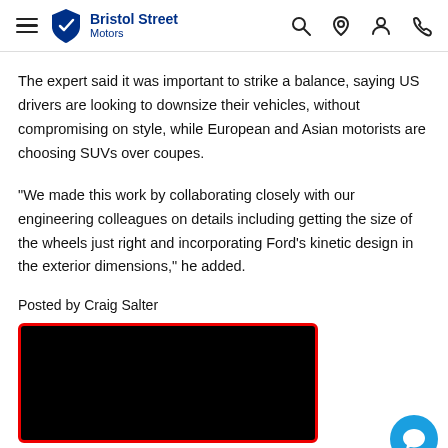Bristol Street Motors
The expert said it was important to strike a balance, saying US drivers are looking to downsize their vehicles, without compromising on style, while European and Asian motorists are choosing SUVs over coupes.
"We made this work by collaborating closely with our engineering colleagues on details including getting the size of the wheels just right and incorporating Ford's kinetic design in the exterior dimensions," he added.
Posted by Craig Salter
[Figure (photo): Black video player with red border, and a circular blue chat button in the bottom right corner]